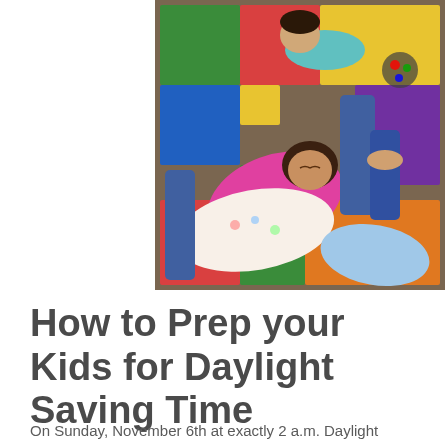[Figure (photo): Children sleeping/resting on a colorful rainbow play mat on the floor, covered with blankets. One child is in a pink jacket, another wrapped in a white patterned blanket. Adults' legs visible around them.]
How to Prep your Kids for Daylight Saving Time
On Sunday, November 6th at exactly 2 a.m. Daylight Saving Time will officially